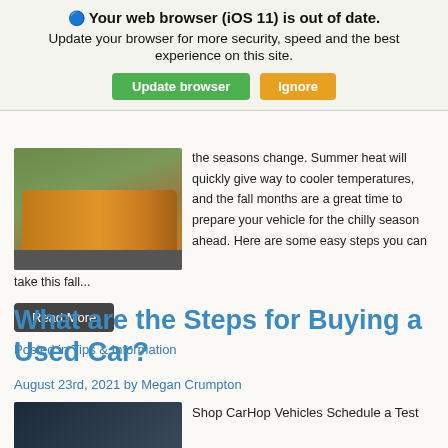🔵 Your web browser (iOS 11) is out of date. Update your browser for more security, speed and the best experience on this site.
Update browser | Ignore
[Figure (photo): Orange SUV car parked on a road with trees in background]
the seasons change. Summer heat will quickly give way to cooler temperatures, and the fall months are a great time to prepare your vehicle for the chilly season ahead. Here are some easy steps you can take this fall...
Read More
Posted in Tips & Information
What are the Steps for Buying a Used Car?
August 23rd, 2021 by Megan Crumpton
[Figure (photo): Dark colored vehicle image]
Shop CarHop Vehicles Schedule a Test